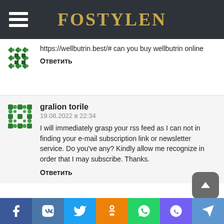FOSTYLEN
https://wellbutrin.best/# can you buy wellbutrin online
Ответить
gralion torile
19.08.2022 в 22:34
I will immediately grasp your rss feed as I can not in finding your e-mail subscription link or newsletter service. Do you've any? Kindly allow me recognize in order that I may subscribe. Thanks.
Ответить